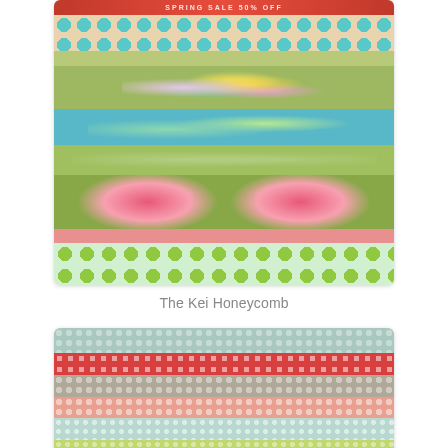[Figure (photo): Stack of colorful patterned fabric bolts including teal polka dots, green solids, floral prints, rose patterns, and light green polka dots on white background]
The Kei Honeycomb
[Figure (photo): Stack of honeycomb/polka dot patterned fabric bolts in teal, red, gray, salmon, and light green colors]